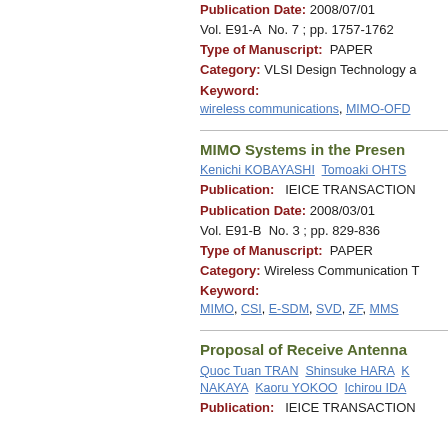Publication Date: 2008/07/01
Vol. E91-A  No. 7 ; pp. 1757-1762
Type of Manuscript:  PAPER
Category: VLSI Design Technology a
Keyword:
wireless communications, MIMO-OFD
MIMO Systems in the Presen
Kenichi KOBAYASHI Tomoaki OHTS
Publication:   IEICE TRANSACTION
Publication Date: 2008/03/01
Vol. E91-B  No. 3 ; pp. 829-836
Type of Manuscript:  PAPER
Category: Wireless Communication T
Keyword:
MIMO, CSI, E-SDM, SVD, ZF, MMS
Proposal of Receive Antenna
Quoc Tuan TRAN Shinsuke HARA K
NAKAYA Kaoru YOKOO Ichirou IDA
Publication:   IEICE TRANSACTION